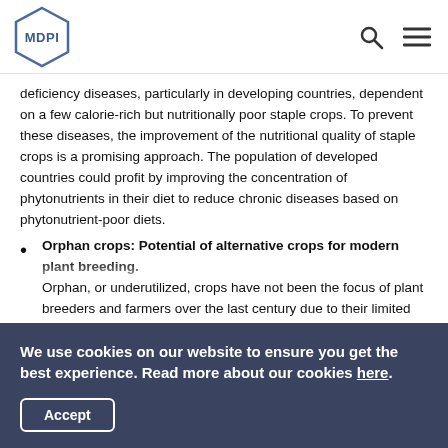MDPI
deficiency diseases, particularly in developing countries, dependent on a few calorie-rich but nutritionally poor staple crops. To prevent these diseases, the improvement of the nutritional quality of staple crops is a promising approach. The population of developed countries could profit by improving the concentration of phytonutrients in their diet to reduce chronic diseases based on phytonutrient-poor diets.
Orphan crops: Potential of alternative crops for modern plant breeding. Orphan, or underutilized, crops have not been the focus of plant breeders and farmers over the last century due to their limited importance in the global market. The fact that they are highly nutritious, resilient in natural and agricultural conditions and provide
We use cookies on our website to ensure you get the best experience. Read more about our cookies here.